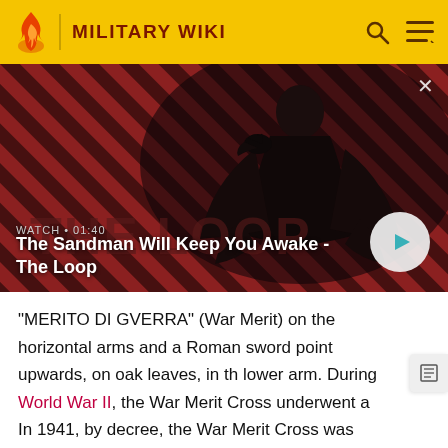MILITARY WIKI
[Figure (screenshot): Video thumbnail for 'The Sandman Will Keep You Awake - The Loop' showing a dark figure with a raven on his shoulder against a red and dark diagonal striped background. Watch duration 01:40. Play button visible bottom right.]
WATCH • 01:40
The Sandman Will Keep You Awake - The Loop
"MERITO DI GVERRA" (War Merit) on the horizontal arms and a Roman sword point upwards, on oak leaves, in the lower arm. During World War II, the War Merit Cross underwent a number of significant changes.[3]
In 1941, by decree, the War Merit Cross was replaced by